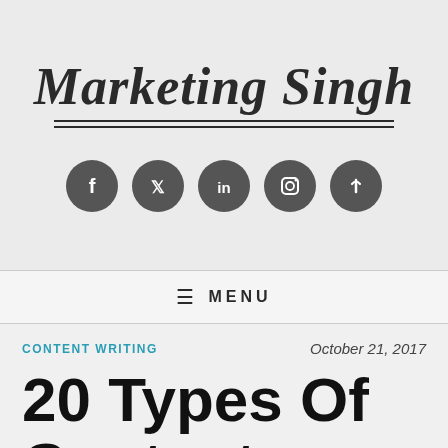Marketing Singh
[Figure (illustration): Five social media icon circles in dark gray: Facebook, Twitter, LinkedIn, Instagram, and a link/clip icon]
≡ MENU
CONTENT WRITING
October 21, 2017
20 Types Of Content Writing